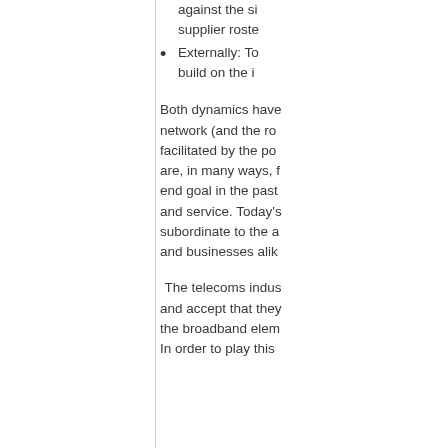against the si... supplier roste...
Externally: To ... build on the i...
Both dynamics have... network (and the ro... facilitated by the po... are, in many ways, f... end goal in the past... and service. Today's... subordinate to the a... and businesses alik...
The telecoms indus... and accept that they... the broadband elem... In order to play this...